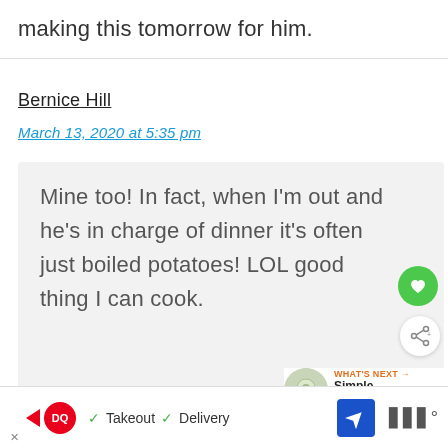making this tomorrow for him.
Bernice Hill
March 13, 2020 at 5:35 pm
Mine too! In fact, when I'm out and he's in charge of dinner it's often just boiled potatoes! LOL good thing I can cook.
Reply
[Figure (screenshot): DQ advertisement bar at bottom with Takeout and Delivery options]
WHAT'S NEXT → Simple Buttermilk...